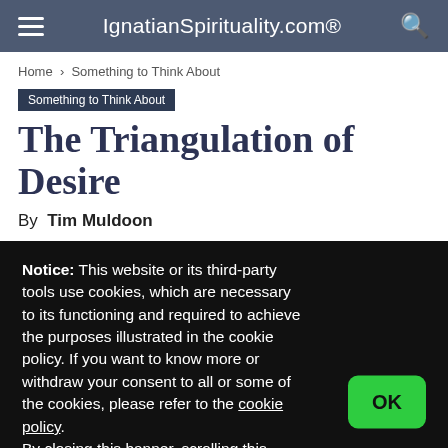IgnatianSpirituality.com®
Home › Something to Think About
Something to Think About
The Triangulation of Desire
By Tim Muldoon
Notice: This website or its third-party tools use cookies, which are necessary to its functioning and required to achieve the purposes illustrated in the cookie policy. If you want to know more or withdraw your consent to all or some of the cookies, please refer to the cookie policy. By closing this banner, scrolling this page, clicking a link or continuing to browse otherwise, you agree to the use of cookies.